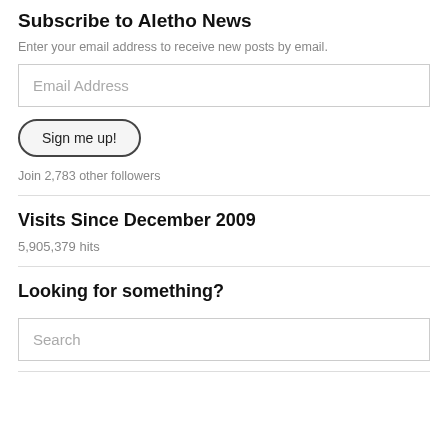Subscribe to Aletho News
Enter your email address to receive new posts by email.
Email Address
Sign me up!
Join 2,783 other followers
Visits Since December 2009
5,905,379 hits
Looking for something?
Search